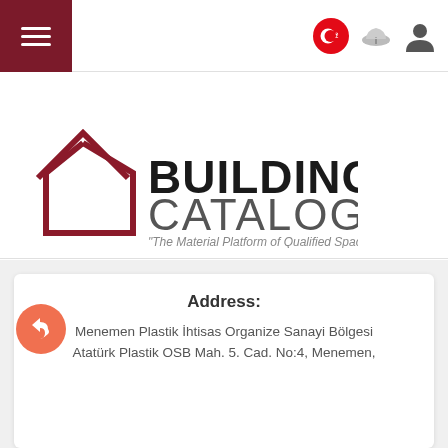[Figure (logo): Building Catalog logo with house outline in dark red and bold text 'BUILDING CATALOG' with tagline 'The Material Platform of Qualified Spaces']
[Figure (logo): by deceuninck large grey bold text]
Address:
Menemen Plastik İhtisas Organize Sanayi Bölgesi Atatürk Plastik OSB Mah. 5. Cad. No:4, Menemen,